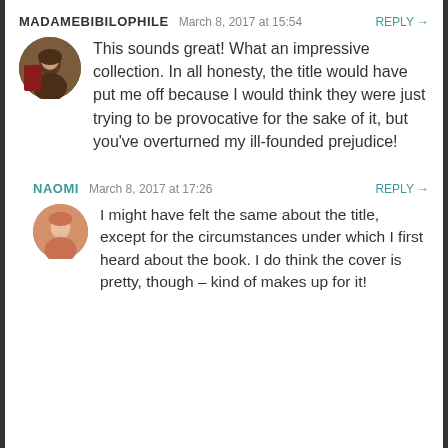MADAMEBIBILOPHILE   March 8, 2017 at 15:54   REPLY →
This sounds great! What an impressive collection. In all honesty, the title would have put me off because I would think they were just trying to be provocative for the sake of it, but you've overturned my ill-founded prejudice!
NAOMI   March 8, 2017 at 17:26   REPLY →
I might have felt the same about the title, except for the circumstances under which I first heard about the book. I do think the cover is pretty, though – kind of makes up for it!